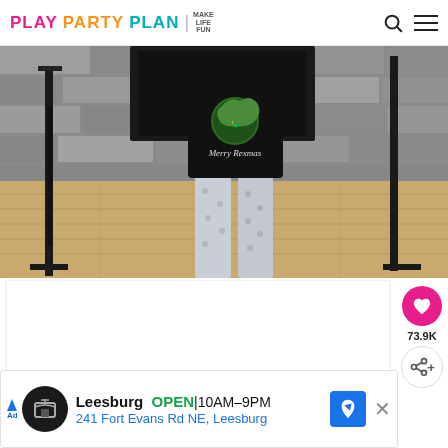PLAY PARTY PLAN | MAKE LIFE FUN
[Figure (photo): Person standing in front of a stone fireplace, wearing a black 'Merry Rexmas' Christmas T-shirt with a dinosaur graphic and grey patterned pajama pants, on a light wood floor. A black folding table is visible.]
73.9K
[Figure (infographic): Advertisement banner for Leesburg store. Shows store logo, 'Leesburg OPEN 10AM–9PM', '241 Fort Evans Rd NE, Leesburg', with a navigation arrow icon and close button.]